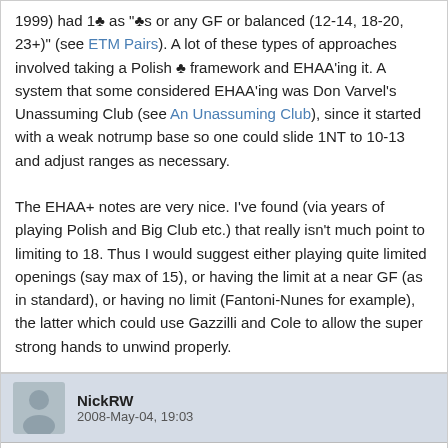1999) had 1♣ as "♣s or any GF or balanced (12-14, 18-20, 23+)" (see ETM Pairs). A lot of these types of approaches involved taking a Polish ♣ framework and EHAA'ing it. A system that some considered EHAA'ing was Don Varvel's Unassuming Club (see An Unassuming Club), since it started with a weak notrump base so one could slide 1NT to 10-13 and adjust ranges as necessary.

The EHAA+ notes are very nice. I've found (via years of playing Polish and Big Club etc.) that really isn't much point to limiting to 18. Thus I would suggest either playing quite limited openings (say max of 15), or having the limit at a near GF (as in standard), or having no limit (Fantoni-Nunes for example), the latter which could use Gazzilli and Cole to allow the super strong hands to unwind properly.
NickRW
2008-May-04, 19:03
Thanks.

I quite like the look of AUC - it seems to solve the nebulous diamond, the problem with 5 clubs 4M, while still retaining 5CM - and, instead of shoving a rather amorphous thing like the weak NT into the the 1C